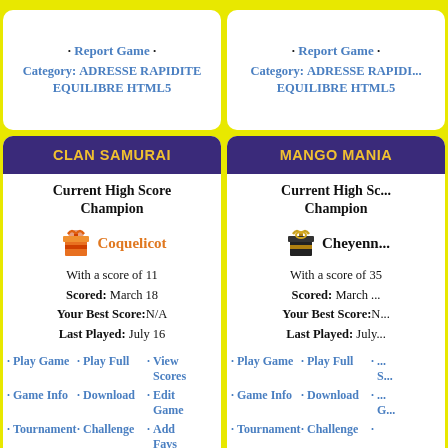· Report Game · Category: ADRESSE RAPIDITE EQUILIBRE HTML5
· Report Game · Category: ADRESSE RAPIDITE EQUILIBRE HTML5
CLAN SAMURAI
MANGO MANIA
Current High Score Champion
Current High Score Champion
Coquelicot
Cheyenn...
With a score of 11
Scored: March 18
Your Best Score:N/A
Last Played: July 16
With a score of 35
Scored: March
Your Best Score:N/A
Last Played: July
· Play Game
· Play Full
· View Scores
· Game Info
· Download
· Edit Game
· Tournament
· Challenge
· Add Favs
· Play Game
· Play Full
· Game Info
· Download
· Tournament
· Challenge
· Report Game ·
· Report Game ·